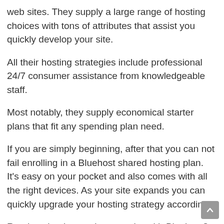web sites. They supply a large range of hosting choices with tons of attributes that assist you quickly develop your site.
All their hosting strategies include professional 24/7 consumer assistance from knowledgeable staff.
Most notably, they supply economical starter plans that fit any spending plan need.
If you are simply beginning, after that you can not fail enrolling in a Bluehost shared hosting plan. It's easy on your pocket and also comes with all the right devices. As your site expands you can quickly upgrade your hosting strategy accordingly.
Ready to begin your internet site with Bluehost? Go here t